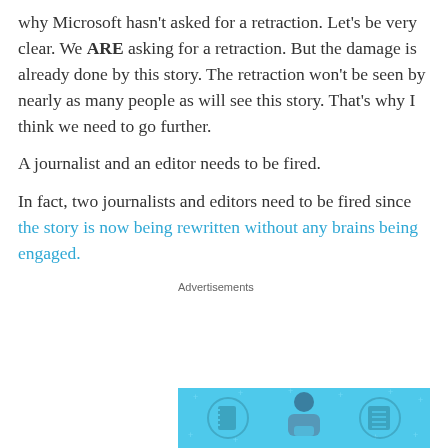why Microsoft hasn't asked for a retraction. Let's be very clear. We ARE asking for a retraction. But the damage is already done by this story. The retraction won't be seen by nearly as many people as will see this story. That's why I think we need to go further.
A journalist and an editor needs to be fired.
In fact, two journalists and editors need to be fired since the story is now being rewritten without any brains being engaged.
Advertisements
[Figure (illustration): Advertisement banner with light blue background showing a stylized illustration of a person with headphones holding a device, flanked by two circular icons — one showing a notebook/notepad and one showing a list/document. Small plus signs scattered in the background.]